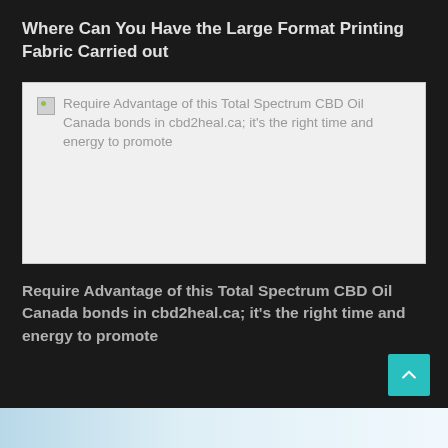Where Can You Have the Large Format Printing Fabric Carried out
[Figure (photo): Broken image placeholder with alt text: Require Advantage of this Total Spectrum CBD Oil Canada bonds in cbd2heal.ca; it's the right time and energy to promote]
Require Advantage of this Total Spectrum CBD Oil Canada bonds in cbd2heal.ca; it's the right time and energy to promote